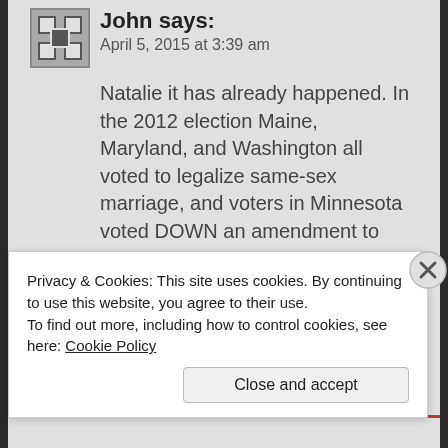[Figure (illustration): Avatar/profile icon with geometric pattern in dark gray and white squares]
John says:
April 5, 2015 at 3:39 am
Natalie it has already happened. In the 2012 election Maine, Maryland, and Washington all voted to legalize same-sex marriage, and voters in Minnesota voted DOWN an amendment to their constitution to make it illegal, thus opening the way for it to become legal in Minnesota. Polls show that if California were to hold a vote today, the same Prop 8 which passed by a small margin of 52-48% in
Privacy & Cookies: This site uses cookies. By continuing to use this website, you agree to their use.
To find out more, including how to control cookies, see here: Cookie Policy
Close and accept